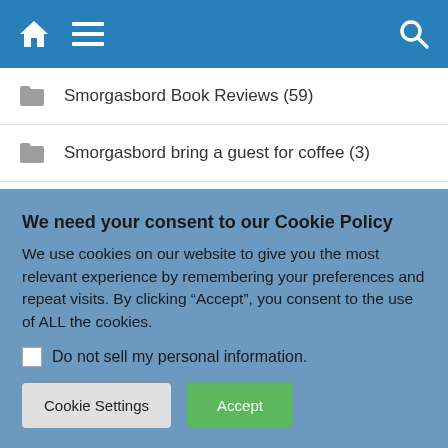Navigation bar with home, menu, and search icons
Smorgasbord Book Reviews (59)
Smorgasbord bring a guest for coffee (3)
Smorgasbord Cafe and Bookstore (21)
Smorgasbord Cafe and Bookstore meet the authors (8)
Smorgasbord Coffee Morning (5)
We need your consent to our Cookie Policy
We use cookies on our website to give you the most relevant experience by remembering your preferences and repeat visits. By clicking "Accept", you consent to the use of ALL the cookies.
Do not sell my personal information.
Cookie Settings | Accept